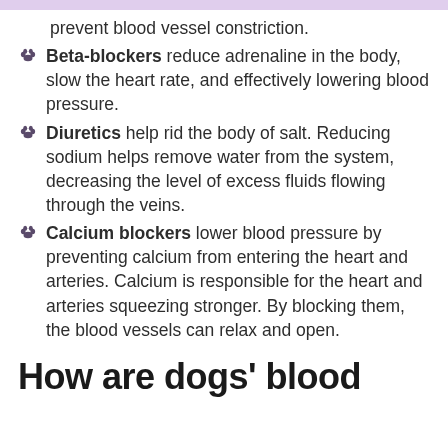prevent blood vessel constriction.
Beta-blockers reduce adrenaline in the body, slow the heart rate, and effectively lowering blood pressure.
Diuretics help rid the body of salt. Reducing sodium helps remove water from the system, decreasing the level of excess fluids flowing through the veins.
Calcium blockers lower blood pressure by preventing calcium from entering the heart and arteries. Calcium is responsible for the heart and arteries squeezing stronger. By blocking them, the blood vessels can relax and open.
How are dogs' blood